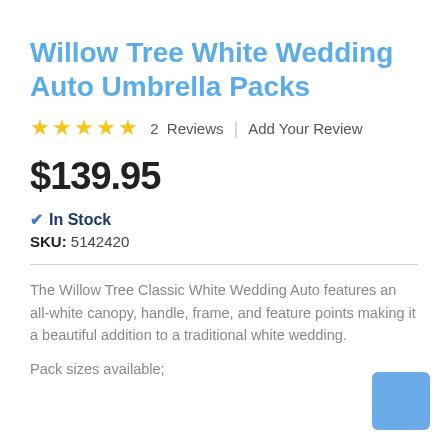Willow Tree White Wedding Auto Umbrella Packs
★★★★★  2  Reviews  |  Add Your Review
$139.95
✔ In Stock
SKU: 5142420
The Willow Tree Classic White Wedding Auto features an all-white canopy, handle, frame, and feature points making it a beautiful addition to a traditional white wedding.
Pack sizes available;